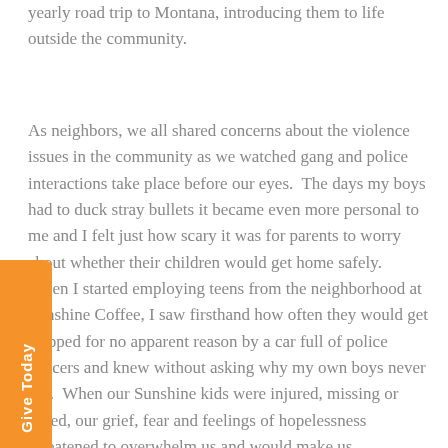yearly road trip to Montana, introducing them to life outside the community.
As neighbors, we all shared concerns about the violence issues in the community as we watched gang and police interactions take place before our eyes. The days my boys had to duck stray bullets it became even more personal to me and I felt just how scary it was for parents to worry about whether their children would get home safely. When I started employing teens from the neighborhood at Sunshine Coffee, I saw firsthand how often they would get stopped for no apparent reason by a car full of police officers and knew without asking why my own boys never did. When our Sunshine kids were injured, missing or killed, our grief, fear and feelings of hopelessness threatened to overwhelm us and would make us wonder if it was worth it. We knew we were not far from it.